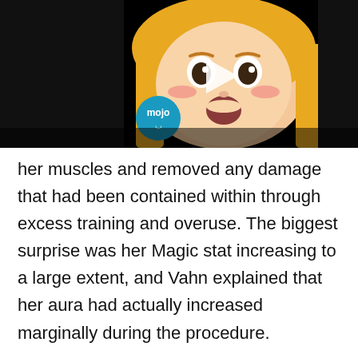[Figure (screenshot): Video player showing anime character with blonde hair and surprised expression, WatchMojo logo visible, play button overlay, close button in top right corner]
her muscles and removed any damage that had been contained within through excess training and overuse. The biggest surprise was her Magic stat increasing to a large extent, and Vahn explained that her aura had actually increased marginally during the procedure.
As Tsubaki's goddess, Hephaestus was able to see her updated Status while the others weren't